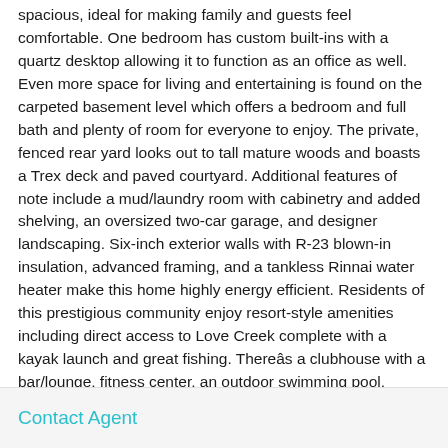spacious, ideal for making family and guests feel comfortable. One bedroom has custom built-ins with a quartz desktop allowing it to function as an office as well. Even more space for living and entertaining is found on the carpeted basement level which offers a bedroom and full bath and plenty of room for everyone to enjoy. The private, fenced rear yard looks out to tall mature woods and boasts a Trex deck and paved courtyard. Additional features of note include a mud/laundry room with cabinetry and added shelving, an oversized two-car garage, and designer landscaping. Six-inch exterior walls with R-23 blown-in insulation, advanced framing, and a tankless Rinnai water heater make this home highly energy efficient. Residents of this prestigious community enjoy resort-style amenities including direct access to Love Creek complete with a kayak launch and great fishing. Thereâs a clubhouse with a bar/lounge, fitness center, an outdoor swimming pool, tennis and pickle-ball courts, and a playground. Lawn maintenance, trash and recycle, and snow removal from roadways are
Contact Agent